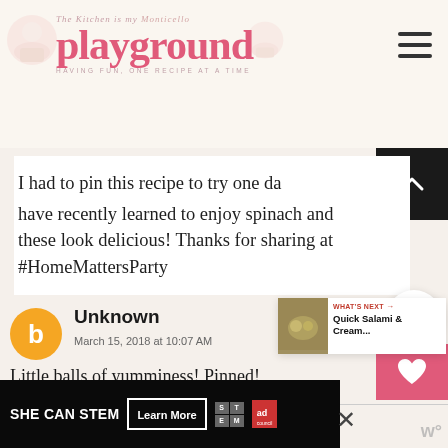The Kitchen is My Playground — playground — HAVING FUN, ONE RECIPE AT A TIME
I had to pin this recipe to try one day. I have recently learned to enjoy spinach and these look delicious! Thanks for sharing at #HomeMattersParty
Unknown
March 15, 2018 at 10:07 AM
Little balls of yumminess! Pinned!
[Figure (other): What's Next widget showing Quick Salami & Cream... with a thumbnail image]
[Figure (other): SHE CAN STEM advertisement banner with Learn More button and ad council logo]